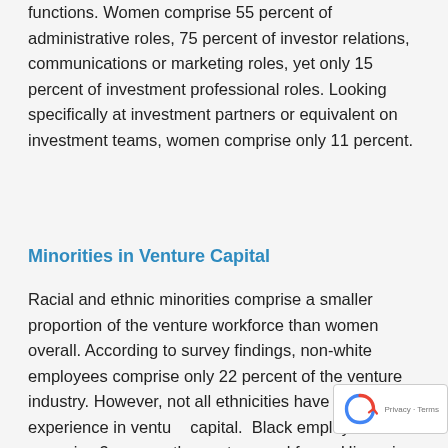functions. Women comprise 55 percent of administrative roles, 75 percent of investor relations, communications or marketing roles, yet only 15 percent of investment professional roles. Looking specifically at investment partners or equivalent on investment teams, women comprise only 11 percent.
Minorities in Venture Capital
Racial and ethnic minorities comprise a smaller proportion of the venture workforce than women overall. According to survey findings, non-white employees comprise only 22 percent of the venture industry. However, not all ethnicities have the same experience in venture capital.  Black employees comprise 3 percent the venture workforce. Hispanic or Latino